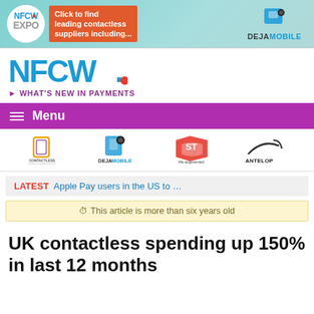[Figure (logo): NFCW EXPO banner with teal background, orange 'Click to find leading contactless suppliers including...' text and DEJAMOBILE logo on right]
[Figure (logo): NFCW logo in blue with red dot]
WHAT'S NEW IN PAYMENTS
Menu
[Figure (logo): Row of sponsor logos: Contactless World Congress, DEJAMOBILE, STMicroelectronics (life.augmented), Antelop Solutions]
LATEST Apple Pay users in the US to ...
This article is more than six years old
UK contactless spending up 150% in last 12 months